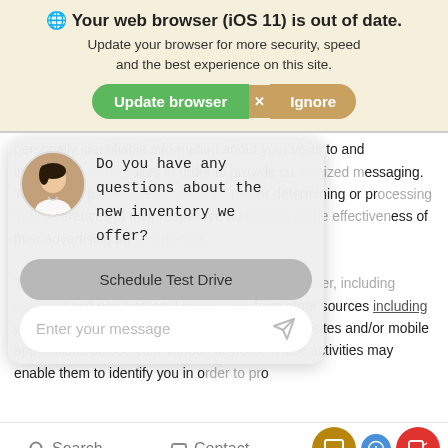[Figure (screenshot): Browser update banner with globe icon, bold warning text 'Your web browser (iOS 11) is out of date.', subtitle 'Update your browser for more security, speed and the best experience on this site.', and two buttons: green 'Update browser' and orange 'Ignore']
personally identifiable information about your visits to and interactions with websites in order to provide customized messaging. These third parties are not responsible for determining or processing the preferences of their respective audiences or the effectiveness of their advertising and marketing.
[Figure (screenshot): Chat widget overlay showing a female avatar, text bubble saying 'Do you have any questions about the new inventory we offer?', a 'Schedule Test Drive' button, and a message input field reading 'Enter your message' with a send icon]
They may also collect information from your browser, including personal and non-personal information from other sources including your visits to this and other websites, mobile websites and/or mobile applications across your various devices. These activities may enable them to identify you in order to serve
Search   Contact